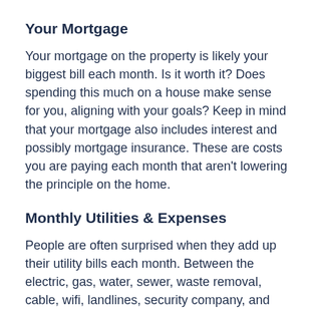Your Mortgage
Your mortgage on the property is likely your biggest bill each month. Is it worth it? Does spending this much on a house make sense for you, aligning with your goals? Keep in mind that your mortgage also includes interest and possibly mortgage insurance. These are costs you are paying each month that aren’t lowering the principle on the home.
Monthly Utilities & Expenses
People are often surprised when they add up their utility bills each month. Between the electric, gas, water, sewer, waste removal, cable, wifi, landlines, security company, and other bills homeowners pay each month, the totals can be into the thousands! In many cases, it can be like paying a second mortgage! When you are dissatisfied with your current ren…